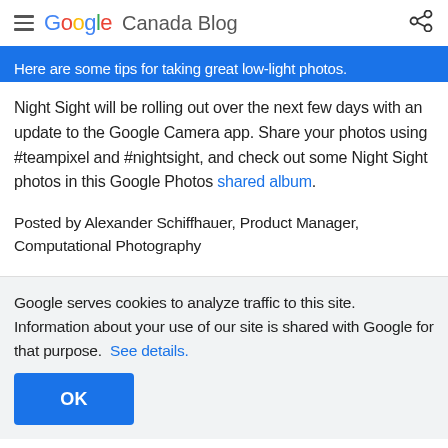Google Canada Blog
Here are some tips for taking great low-light photos.
Night Sight will be rolling out over the next few days with an update to the Google Camera app. Share your photos using #teampixel and #nightsight, and check out some Night Sight photos in this Google Photos shared album.
Posted by Alexander Schiffhauer, Product Manager, Computational Photography
Google serves cookies to analyze traffic to this site. Information about your use of our site is shared with Google for that purpose.  See details.